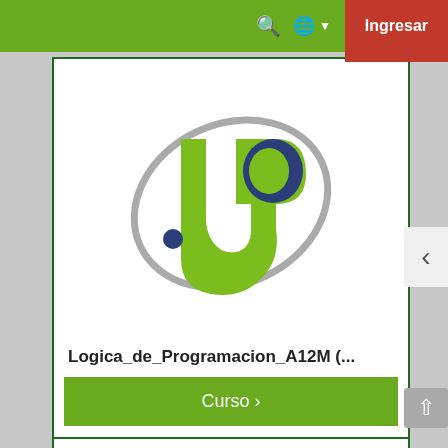Ingresar
[Figure (logo): UP logo — green stylized U and P letters with gray orbital ellipse and dark blue dot]
Logica_de_Programacion_A12M (...
Curso ›
[Figure (logo): UP logo partial — same green and blue logo, partially visible at bottom of page]